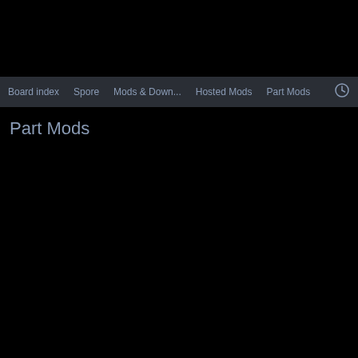Board index  Spore  Mods & Down...  Hosted Mods  Part Mods
Part Mods